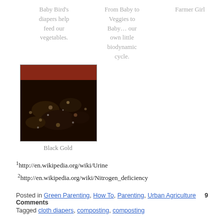Baby Bird's diapers help feed our vegetables.
From Baby to Veggies to Baby… our own little biodynamic cycle.
Farmer Girl
[Figure (photo): A close-up photo of dark compost soil labeled 'Black Gold']
Black Gold
¹http://en.wikipedia.org/wiki/Urine
²http://en.wikipedia.org/wiki/Nitrogen_deficiency
Posted in Green Parenting, How To, Parenting, Urban Agriculture   9 Comments
Tagged cloth diapers, composting, composting